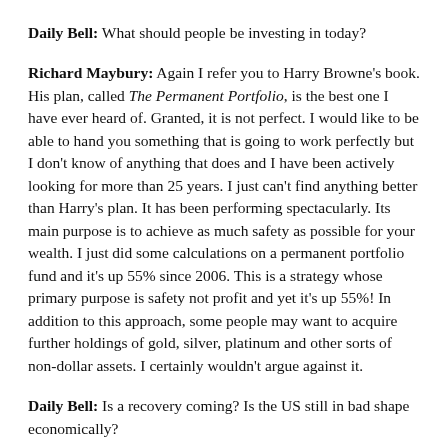Daily Bell: What should people be investing in today?
Richard Maybury: Again I refer you to Harry Browne's book. His plan, called The Permanent Portfolio, is the best one I have ever heard of. Granted, it is not perfect. I would like to be able to hand you something that is going to work perfectly but I don't know of anything that does and I have been actively looking for more than 25 years. I just can't find anything better than Harry's plan. It has been performing spectacularly. Its main purpose is to achieve as much safety as possible for your wealth. I just did some calculations on a permanent portfolio fund and it's up 55% since 2006. This is a strategy whose primary purpose is safety not profit and yet it's up 55%! In addition to this approach, some people may want to acquire further holdings of gold, silver, platinum and other sorts of non-dollar assets. I certainly wouldn't argue against it.
Daily Bell: Is a recovery coming? Is the US still in bad shape economically?